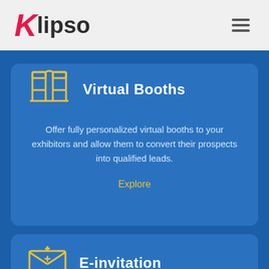Klipso
Virtual Booths
Offer fully personalized virtual booths to your exhibitors and allow them to convert their prospects into qualified leads.
Explore
E-invitation